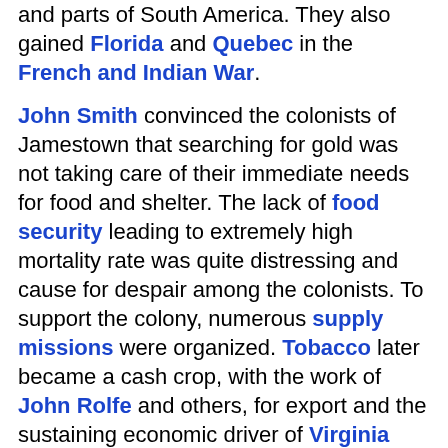and parts of South America. They also gained Florida and Quebec in the French and Indian War.
John Smith convinced the colonists of Jamestown that searching for gold was not taking care of their immediate needs for food and shelter. The lack of food security leading to extremely high mortality rate was quite distressing and cause for despair among the colonists. To support the colony, numerous supply missions were organized. Tobacco later became a cash crop, with the work of John Rolfe and others, for export and the sustaining economic driver of Virginia and the neighboring colony of Maryland. Plantation agriculture was a primary aspect of the economies of the Southern Colonies and in the British West Indies. They heavily relied on African slave labor to sustain their economic pursuits.[37]